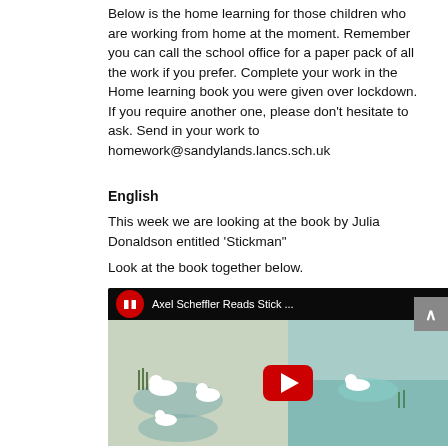Below is the home learning for those children who are working from home at the moment. Remember you can call the school office for a paper pack of all the work if you prefer. Complete your work in the Home learning book you were given over lockdown. If you require another one, please don't hesitate to ask. Send in your work to homework@sandylands.lancs.sch.uk
English
This week we are looking at the book by Julia Donaldson entitled 'Stickman"
Look at the book together below.
[Figure (screenshot): YouTube video embed showing 'Axel Scheffler Reads Stick ...' with a red circular book icon, video thumbnail of illustrated book pages, and a red YouTube play button in the center.]